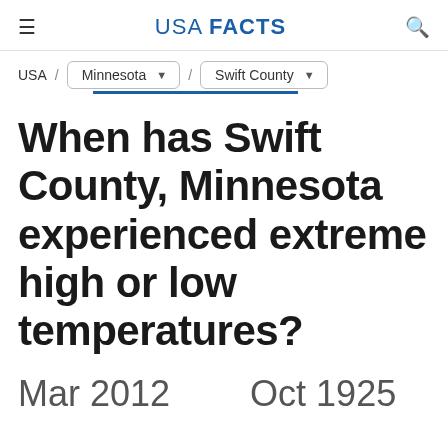USA FACTS
USA / Minnesota / Swift County
When has Swift County, Minnesota experienced extreme high or low temperatures?
Mar 2012    Oct 1925